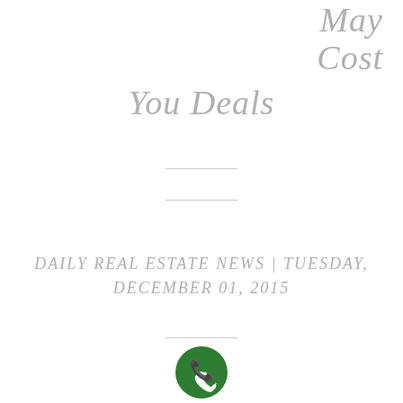May Cost You Deals
DAILY REAL ESTATE NEWS | TUESDAY, DECEMBER 01, 2015
[Figure (other): Green circular phone/call button icon]